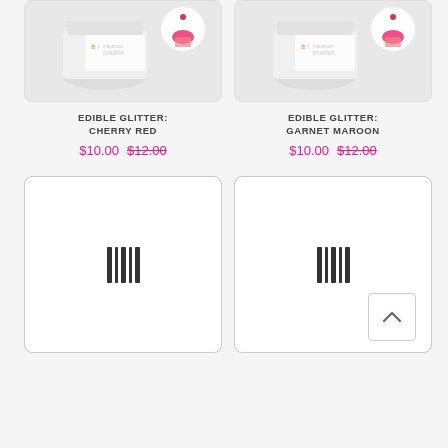[Figure (photo): Product image of Edible Glitter Cherry Red in a white jar, partially visible at top]
EDIBLE GLITTER: CHERRY RED
$10.00 $12.00
[Figure (photo): Product image of Edible Glitter Garnet Maroon in a white jar, partially visible at top]
EDIBLE GLITTER: GARNET MAROON
$10.00 $12.00
[Figure (other): Product placeholder card with barcode loading icon]
[Figure (other): Product placeholder card with barcode loading icon and back-to-top button]